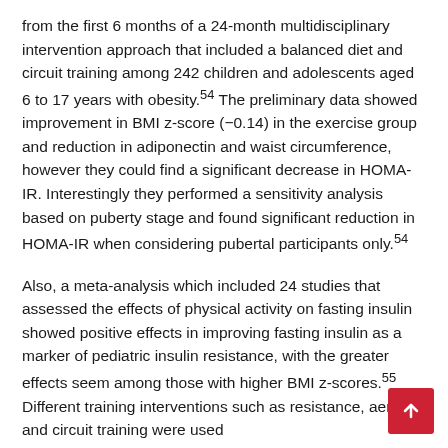from the first 6 months of a 24-month multidisciplinary intervention approach that included a balanced diet and circuit training among 242 children and adolescents aged 6 to 17 years with obesity.54 The preliminary data showed improvement in BMI z-score (−0.14) in the exercise group and reduction in adiponectin and waist circumference, however they could find a significant decrease in HOMA-IR. Interestingly they performed a sensitivity analysis based on puberty stage and found significant reduction in HOMA-IR when considering pubertal participants only.54
Also, a meta-analysis which included 24 studies that assessed the effects of physical activity on fasting insulin showed positive effects in improving fasting insulin as a marker of pediatric insulin resistance, with the greater effects seem among those with higher BMI z-scores.55 Different training interventions such as resistance, aerobic and circuit training were used